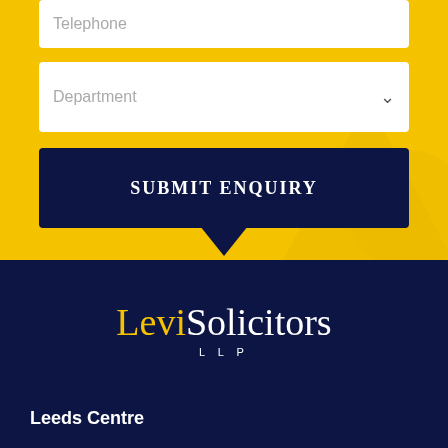Telephone
Department
SUBMIT ENQUIRY
[Figure (logo): Levi Solicitors LLP logo with 'Levi' in gold and 'Solicitors' in white, 'LLP' below in white letters on navy background]
Leeds Centre